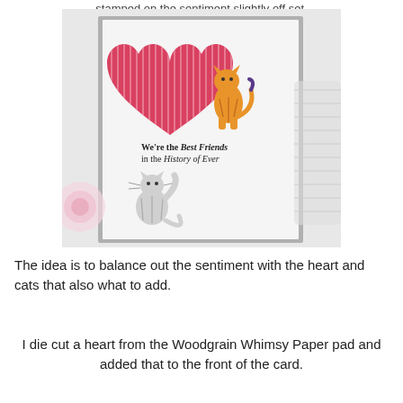stamped on the sentiment slightly off set.
[Figure (photo): A handmade greeting card featuring two illustrated cats and a large red striped heart. The card reads 'We're the Best Friends in the History of Ever'. One orange tabby cat stands beside the heart, and a grey cat sits below the sentiment. The card is propped on a light background with a pink rose and patterned paper visible.]
The idea is to balance out the sentiment with the heart and cats that also what to add.
I die cut a heart from the Woodgrain Whimsy Paper pad and added that to the front of the card.